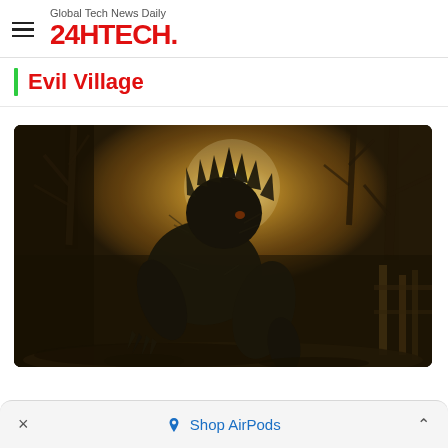Global Tech News Daily 24HTECH.
Evil Village
[Figure (photo): A werewolf-like creature crouching in a dark, foggy village environment with bare trees and warm backlit sunlight — screenshot from Resident Evil Village video game.]
× Shop AirPods ^